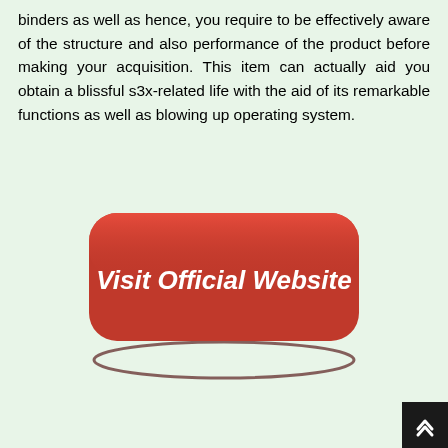binders as well as hence, you require to be effectively aware of the structure and also performance of the product before making your acquisition. This item can actually aid you obtain a blissful s3x-related life with the aid of its remarkable functions as well as blowing up operating system.
[Figure (illustration): A red rounded rectangle button with white bold text reading 'Visit Official Website', with a dark oval shadow/border behind it, on a light green background.]
More Regarding RLX Male Enhancement Pills:
Is your s3x life decreasing the tubes? Are you not satisfied in your partnership? Is your companion not satisfied with your efficiencies? If you are encountering these problems in your regular life after that yes, you need an ideal male